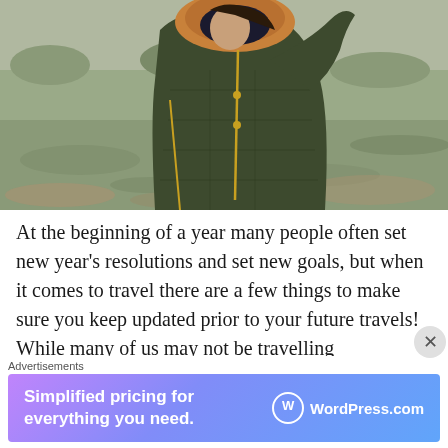[Figure (photo): A person wearing a dark olive/army green quilted parka coat with a fur-trimmed hood, photographed outdoors in a park or open area with bare ground and sparse grass in the background. The person is holding the hood near their face. The coat has gold zipper details and appears to be a winter fashion shot.]
At the beginning of a year many people often set new year's resolutions and set new goals, but when it comes to travel there are a few things to make sure you keep updated prior to your future travels! While many of us may not be travelling internationally, our
Advertisements
[Figure (screenshot): WordPress.com advertisement banner with gradient purple-to-blue background. Text reads: 'Simplified pricing for everything you need.' with the WordPress.com logo on the right.]